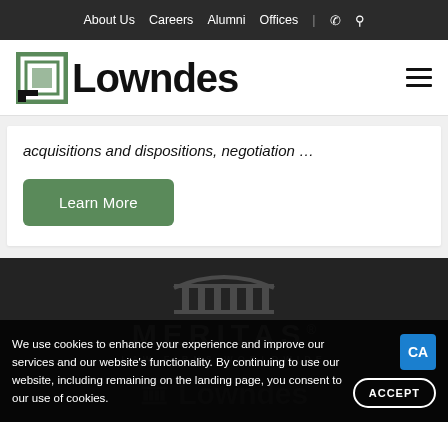About Us  Careers  Alumni  Offices  |  📞  🔍
[Figure (logo): Lowndes law firm logo with green square bracket icon and bold Lowndes wordmark]
acquisitions and dispositions, negotiation …
Learn More
[Figure (logo): Meritas® law firms worldwide logo with pillar/column icon on dark background]
We use cookies to enhance your experience and improve our services and our website's functionality. By continuing to use our website, including remaining on the landing page, you consent to our use of cookies.
ACCEPT